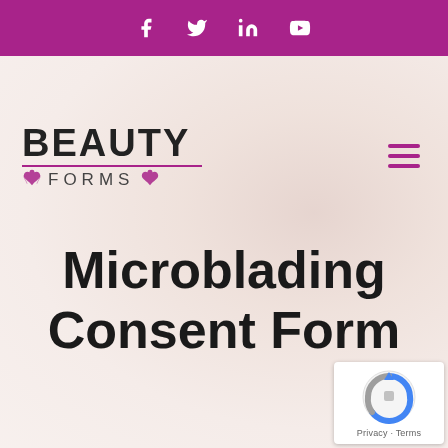Social media icons: Facebook, Twitter, LinkedIn, YouTube
[Figure (logo): Beauty Forms logo with pink/magenta underline and lotus flowers, on a faded hero background image of hands]
Microblading Consent Form
[Figure (other): reCAPTCHA badge with Privacy and Terms links]